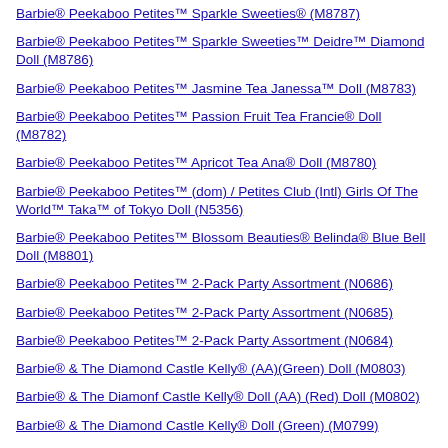Barbie® Peekaboo Petites™ Sparkle Sweeties® (M8787)
Barbie® Peekaboo Petites™ Sparkle Sweeties™ Deidre™ Diamond Doll (M8786)
Barbie® Peekaboo Petites™ Jasmine Tea Janessa™ Doll (M8783)
Barbie® Peekaboo Petites™ Passion Fruit Tea Francie® Doll (M8782)
Barbie® Peekaboo Petites™ Apricot Tea Ana® Doll (M8780)
Barbie® Peekaboo Petites™ (dom) / Petites Club (Intl) Girls Of The World™ Taka™ of Tokyo Doll (N5356)
Barbie® Peekaboo Petites™ Blossom Beauties® Belinda® Blue Bell Doll (M8801)
Barbie® Peekaboo Petites™ 2-Pack Party Assortment (N0686)
Barbie® Peekaboo Petites™ 2-Pack Party Assortment (N0685)
Barbie® Peekaboo Petites™ 2-Pack Party Assortment (N0684)
Barbie® & The Diamond Castle Kelly® (AA)(Green) Doll (M0803)
Barbie® & The Diamonf Castle Kelly® Doll (AA) (Red) Doll (M0802)
Barbie® & The Diamond Castle Kelly® Doll (Green) (M0799)
Barbie® & The Diamond Castle Kelly® Doll (Red) (M0798)
Barbie® & The Diamond Castle Kelly® Doll Assortment (M0797)
My Scene™ I (Heart) Shopping™/(Heart) Shopping Delancey® Doll (L9226)